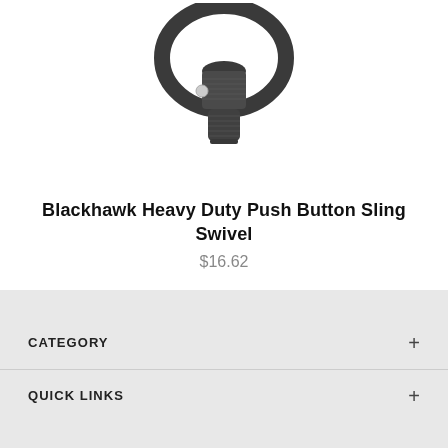[Figure (photo): Product photo of Blackhawk Heavy Duty Push Button Sling Swivel, a dark metal gun sling swivel with a circular loop on top and a cylindrical push-button attachment mechanism below, photographed against a white background.]
Blackhawk Heavy Duty Push Button Sling Swivel
$16.62
CATEGORY
QUICK LINKS